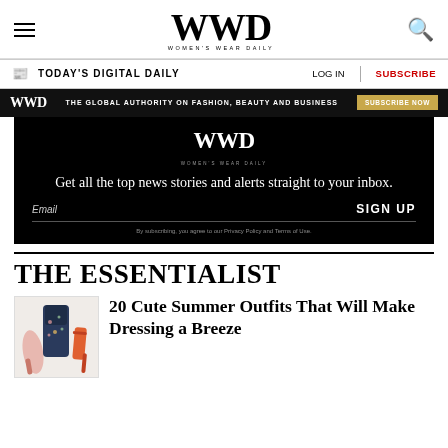WWD WOMEN'S WEAR DAILY
TODAY'S DIGITAL DAILY | LOG IN | SUBSCRIBE
[Figure (infographic): WWD black banner ad: THE GLOBAL AUTHORITY ON FASHION, BEAUTY AND BUSINESS with SUBSCRIBE NOW button]
[Figure (infographic): Black email sign-up panel with WWD logo, headline 'Get all the top news stories and alerts straight to your inbox.', Email field, SIGN UP button, and privacy policy note]
THE ESSENTIALIST
[Figure (photo): Thumbnail image of summer outfits — colorful dresses and orange heeled sandals]
20 Cute Summer Outfits That Will Make Dressing a Breeze